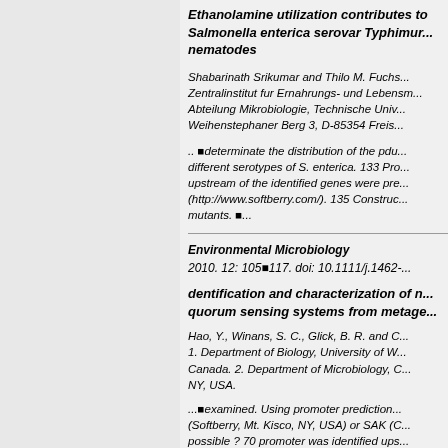Ethanolamine utilization contributes to Salmonella enterica serovar Typhimurium nematodes
Shabarinath Srikumar and Thilo M. Fuchs. Zentralinstitut fur Ernahrungs- und Leb... Abteilung Mikrobiologie, Technische Univ... Weihenstephaner Berg 3, D-85354 Freis...
.. �determinate the distribution of the pdu... different serotypes of S. enterica. 133 Pr... upstream of the identified genes were pre... (http://www.softberry.com/). 135 Constru... mutants. �...
Environmental Microbiology
2010. 12: 105�117. doi: 10.1111/j.1462-...
dentification and characterization of n... quorum sensing systems from metage...
Hao, Y., Winans, S. C., Glick, B. R. and C... 1. Department of Biology, University of W... Canada. 2. Department of Microbiology, C... NY, USA.
...�examined. Using promoter prediction... (Softberry, Mt. Kisco, NY, USA) or SAK (... possible ? 70 promoter was identified ups... ...